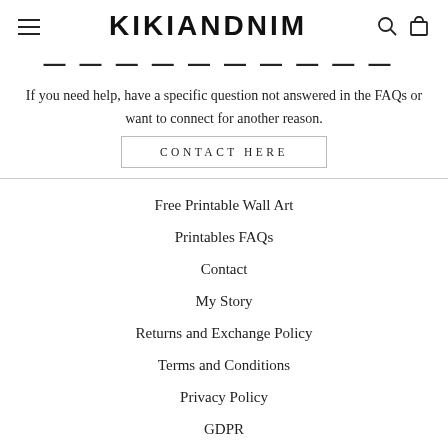KIKIANDNIM
NEED TO REACH ME?
If you need help, have a specific question not answered in the FAQs or want to connect for another reason.
CONTACT HERE
Free Printable Wall Art
Printables FAQs
Contact
My Story
Returns and Exchange Policy
Terms and Conditions
Privacy Policy
GDPR